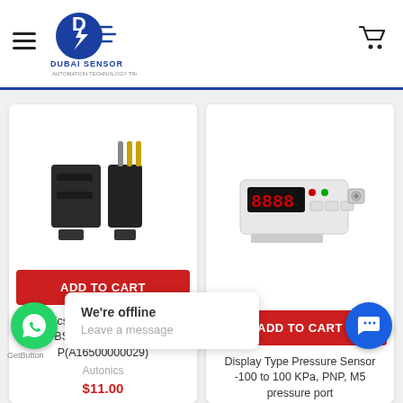Dubai Sensor - header navigation
[Figure (photo): Autonics photoelectric slot sensor BS5 series, black plastic U-shaped sensor with connector pins]
ADD TO CART
Autonics Photoelectric Sensors BS5 Series BS5-M-P(A16500000029)
Autonics
$11.00
[Figure (photo): Display Type Pressure Sensor with red LED display, white rectangular body with control buttons]
ADD TO CART
Display Type Pressure Sensor -100 to 100 KPa, PNP, M5 pressure port
We're offline
Leave a message